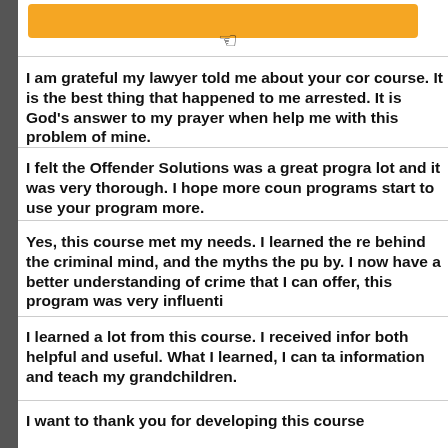[Figure (other): Orange button with hand cursor pointer icon at top of page]
I am grateful my lawyer told me about your course. It is the best thing that happened to me since arrested. It is God's answer to my prayer when help me with this problem of mine.
I felt the Offender Solutions was a great program. I learned a lot and it was very thorough. I hope more counseling programs start to use your program more.
Yes, this course met my needs. I learned the reasons behind the criminal mind, and the myths the public lives by. I now have a better understanding of crime and what that I can offer, this program was very influential.
I learned a lot from this course. I received information both helpful and useful. What I learned, I can take this information and teach my grandchildren.
I want to thank you for developing this course...